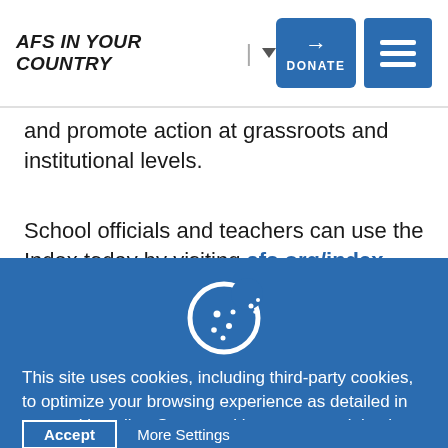AFS IN YOUR COUNTRY | ▼   DONATE   ☰
and promote action at grassroots and institutional levels.
School officials and teachers can use the Index today by visiting afs.org/index →
[Figure (illustration): Cookie icon — a white cookie with a bite taken out, on a blue background]
This site uses cookies, including third-party cookies, to optimize your browsing experience as detailed in our cookie policy. Some cookies are essential; others help us improve your experience by providing insights into how the site is used.
Accept   More Settings